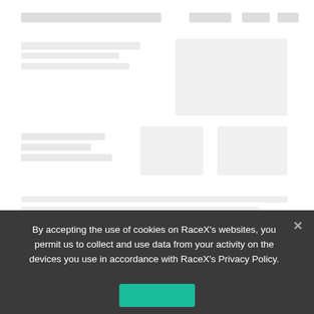[Figure (screenshot): Blurred/faded website content in background, partially obscured by cookie consent overlay]
By accepting the use of cookies on RaceX's websites, you permit us to collect and use data from your activity on the devices you use in accordance with RaceX's Privacy Policy.